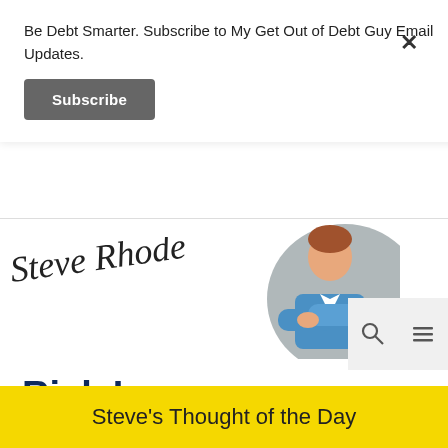Be Debt Smarter. Subscribe to My Get Out of Debt Guy Email Updates.
Subscribe
[Figure (illustration): Steve Rhode signature in cursive script and an illustration of a man in a blue shirt with arms crossed]
[Figure (other): Navigation bar with search icon and hamburger menu icon]
Rick Longo
Steve's Thought of the Day